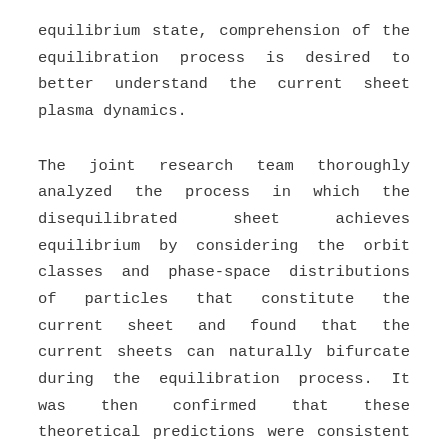equilibrium state, comprehension of the equilibration process is desired to better understand the current sheet plasma dynamics.
The joint research team thoroughly analyzed the process in which the disequilibrated sheet achieves equilibrium by considering the orbit classes and phase-space distributions of particles that constitute the current sheet and found that the current sheets can naturally bifurcate during the equilibration process. It was then confirmed that these theoretical predictions were consistent with the particle-in-cell simulation results performed by the KAIROS supercomputer*2 at the Korea Institute of Fusion Energy. In addition, the simulation data were compared and verified with NASA's